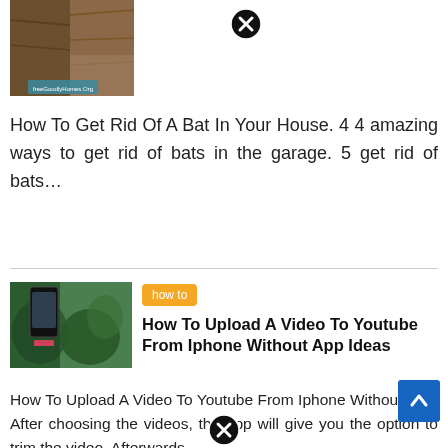[Figure (photo): A wooden bat box or wooden structure photographed up close, with a small watermark label at the bottom.]
How To Get Rid Of A Bat In Your House. 4 4 amazing ways to get rid of bats in the garage. 5 get rid of bats...
[Figure (photo): A hand holding a smartphone with a plant in the background.]
how to
How To Upload A Video To Youtube From Iphone Without App Ideas
How To Upload A Video To Youtube From Iphone Without App. After choosing the videos, the app will give you the option to trim the video. Afterwards